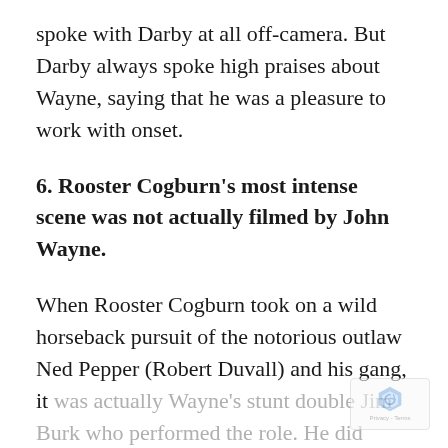spoke with Darby at all off-camera. But Darby always spoke high praises about Wayne, saying that he was a pleasure to work with onset.
6. Rooster Cogburn's most intense scene was not actually filmed by John Wayne.
When Rooster Cogburn took on a wild horseback pursuit of the notorious outlaw Ned Pepper (Robert Duvall) and his gang, it was actually Wayne's stunt double Jim Burk who performed the role. He did